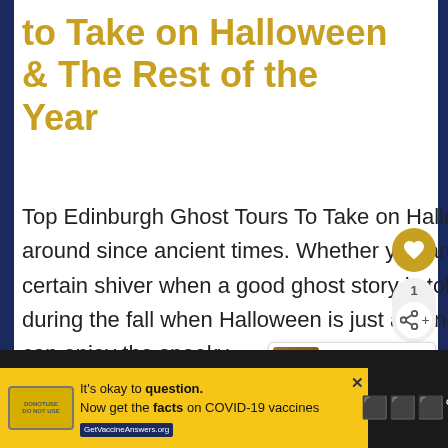to Take on Halloween & The Rest of the Year
Top Edinburgh Ghost Tours To Take on Halloween Ghost stories have been around since ancient times. Whether you are a believer or not, there comes a certain shiver when a good ghost story is told. There's something about ghosts during the fall when Halloween is just around the corner. Nowadays, people can enjoy the spooky …
[Figure (infographic): What's Next popup with thumbnail image and text 'European Fashion: Wh...']
It's okay to question. Now get the facts on COVID-19 vaccines GetVaccineAnswers.org